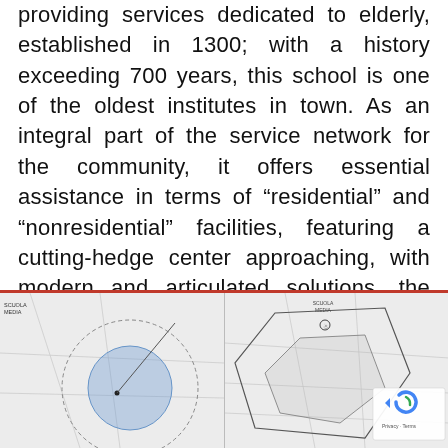providing services dedicated to elderly, established in 1300; with a history exceeding 700 years, this school is one of the oldest institutes in town. As an integral part of the service network for the community, it offers essential assistance in terms of “residential” and “nonresidential” facilities, featuring a cutting-hedge center approaching, with modern and articulated solutions, the family needs and nowadays society challenges.
[Figure (map): Two side-by-side geographic maps showing service area coverage with circular radius overlays and street/area boundaries. Left map shows a circular coverage area with a shaded blue region. Right map shows a similar area with polygon boundary overlays and a reCAPTCHA Privacy/Terms widget.]